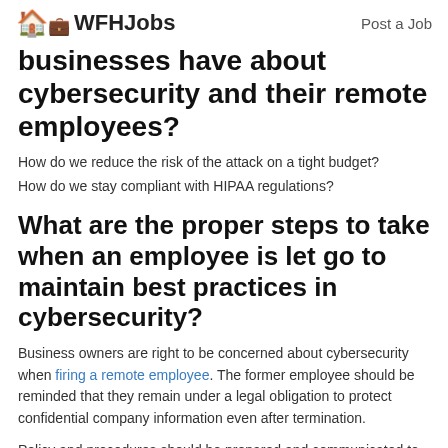WFHJobs   Post a Job
businesses have about cybersecurity and their remote employees?
How do we reduce the risk of the attack on a tight budget?
How do we stay compliant with HIPAA regulations?
What are the proper steps to take when an employee is let go to maintain best practices in cybersecurity?
Business owners are right to be concerned about cybersecurity when firing a remote employee. The former employee should be reminded that they remain under a legal obligation to protect confidential company information even after termination.
Policy and procedures should be prepared and communicated to